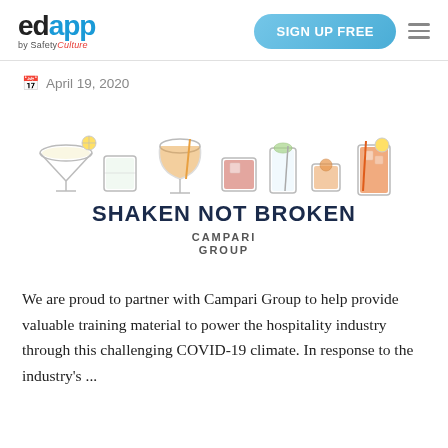edapp by SafetyCulture | SIGN UP FREE
April 19, 2020
[Figure (illustration): Shaken Not Broken - Campari Group promotional image with illustrated cocktail glasses and the text 'SHAKEN NOT BROKEN' and 'CAMPARI GROUP']
We are proud to partner with Campari Group to help provide valuable training material to power the hospitality industry through this challenging COVID-19 climate. In response to the industry's ...